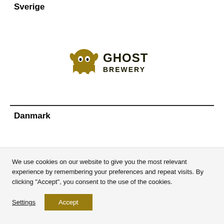Sverige
[Figure (logo): Ghost Brewery logo with a ghost figure and bold text reading GHOST BREWERY]
Danmark
We use cookies on our website to give you the most relevant experience by remembering your preferences and repeat visits. By clicking “Accept”, you consent to the use of the cookies.
Settings  Accept